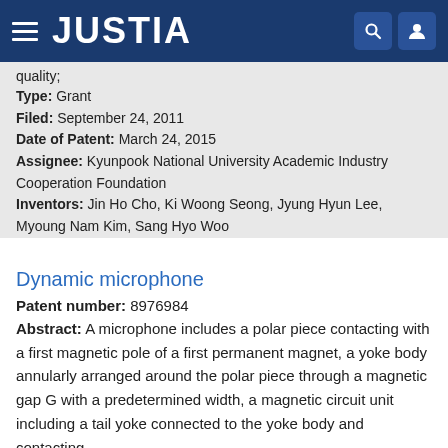JUSTIA
quality;
Type: Grant
Filed: September 24, 2011
Date of Patent: March 24, 2015
Assignee: Kyunpook National University Academic Industry Cooperation Foundation
Inventors: Jin Ho Cho, Ki Woong Seong, Jyung Hyun Lee, Myoung Nam Kim, Sang Hyo Woo
Dynamic microphone
Patent number: 8976984
Abstract: A microphone includes a polar piece contacting with a first magnetic pole of a first permanent magnet, a yoke body annularly arranged around the polar piece through a magnetic gap G with a predetermined width, a magnetic circuit unit including a tail yoke connected to the yoke body and contacting